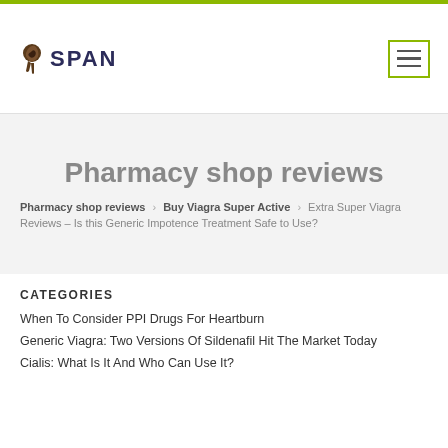SPAN
Pharmacy shop reviews
Pharmacy shop reviews > Buy Viagra Super Active > Extra Super Viagra Reviews – Is this Generic Impotence Treatment Safe to Use?
CATEGORIES
When To Consider PPI Drugs For Heartburn
Generic Viagra: Two Versions Of Sildenafil Hit The Market Today
Cialis: What Is It And Who Can Use It?